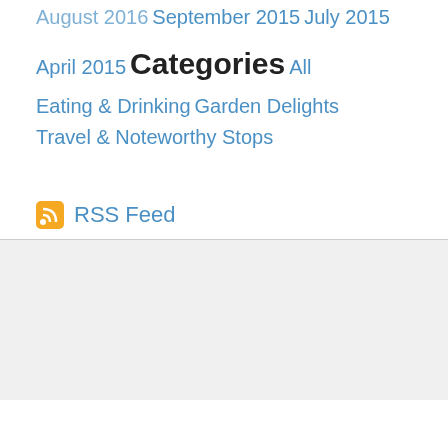August 2016
September 2015
July 2015
April 2015
Categories
All
Eating & Drinking
Garden Delights
Travel & Noteworthy Stops
RSS Feed